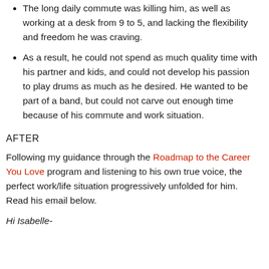The long daily commute was killing him, as well as working at a desk from 9 to 5, and lacking the flexibility and freedom he was craving.
As a result, he could not spend as much quality time with his partner and kids, and could not develop his passion to play drums as much as he desired. He wanted to be part of a band, but could not carve out enough time because of his commute and work situation.
AFTER
Following my guidance through the Roadmap to the Career You Love program and listening to his own true voice, the perfect work/life situation progressively unfolded for him. Read his email below.
Hi Isabelle-